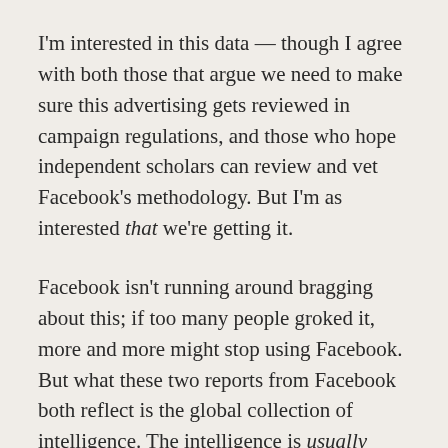I'm interested in this data — though I agree with both those that argue we need to make sure this advertising gets reviewed in campaign regulations, and those who hope independent scholars can review and vet Facebook's methodology. But I'm as interested that we're getting it.
Facebook isn't running around bragging about this; if too many people groked it, more and more might stop using Facebook. But what these two reports from Facebook both reflect is the global collection of intelligence. The intelligence is usually used to sell highly targeted advertisements. But in the wake of Russia's tampering with last year's election, Facebook has had the ability to take a global view of what occurred. Arguably, it has shared more of that